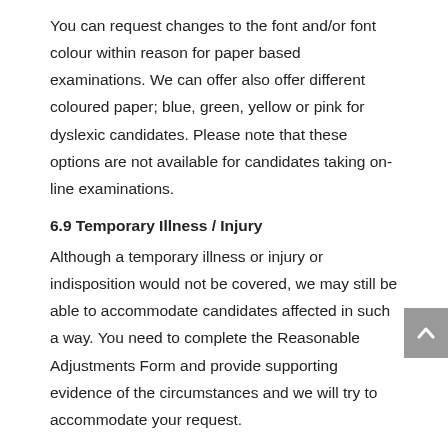You can request changes to the font and/or font colour within reason for paper based examinations. We can offer also offer different coloured paper; blue, green, yellow or pink for dyslexic candidates. Please note that these options are not available for candidates taking on-line examinations.
6.9 Temporary Illness / Injury
Although a temporary illness or injury or indisposition would not be covered, we may still be able to accommodate candidates affected in such a way. You need to complete the Reasonable Adjustments Form and provide supporting evidence of the circumstances and we will try to accommodate your request.
6.10 Pregnancy
You are entitled to go to the toilet if you are pregnant but